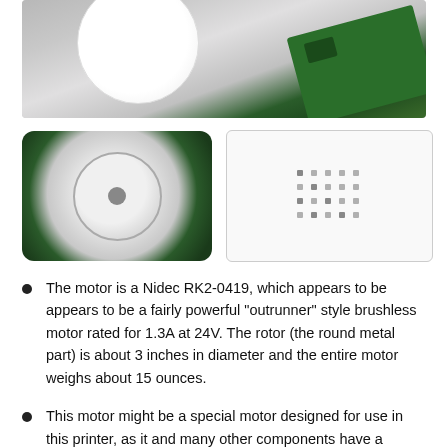[Figure (photo): Top-down photo showing a white disc rotor and a green PCB circuit board of a brushless motor on a light grey background.]
[Figure (photo): Thumbnail photo of the Nidec RK2-0419 brushless motor showing the white disc rotor with circuit board underneath, viewed from above.]
[Figure (photo): Thumbnail placeholder with a grid of small grey dots on a white background.]
The motor is a Nidec RK2-0419, which appears to be appears to be a fairly powerful "outrunner" style brushless motor rated for 1.3A at 24V. The rotor (the round metal part) is about 3 inches in diameter and the entire motor weighs about 15 ounces.
This motor might be a special motor designed for use in this printer, as it and many other components have a number with the format RK2-0xxx on them.